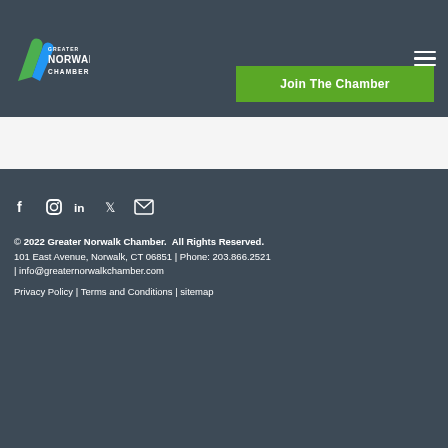Greater Norwalk Chamber
Join The Chamber
[Figure (logo): Greater Norwalk Chamber logo with green and blue stylized leaf/letter mark and text]
© 2022 Greater Norwalk Chamber. All Rights Reserved. 101 East Avenue, Norwalk, CT 06851 | Phone: 203.866.2521 | info@greaternorwalkchamber.com Privacy Policy | Terms and Conditions | sitemap